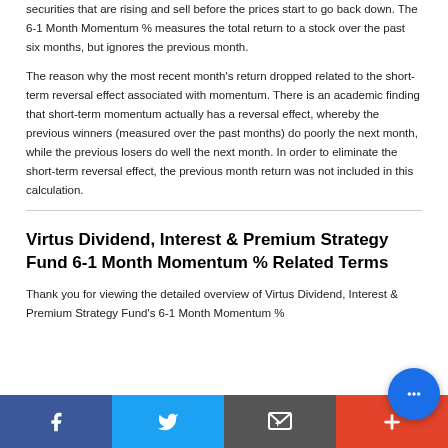securities that are rising and sell before the prices start to go back down. The 6-1 Month Momentum % measures the total return to a stock over the past six months, but ignores the previous month.
The reason why the most recent month's return dropped related to the short-term reversal effect associated with momentum. There is an academic finding that short-term momentum actually has a reversal effect, whereby the previous winners (measured over the past months) do poorly the next month, while the previous losers do well the next month. In order to eliminate the short-term reversal effect, the previous month return was not included in this calculation.
Virtus Dividend, Interest & Premium Strategy Fund 6-1 Month Momentum % Related Terms
Thank you for viewing the detailed overview of Virtus Dividend, Interest & Premium Strategy Fund's 6-1 Month Momentum %